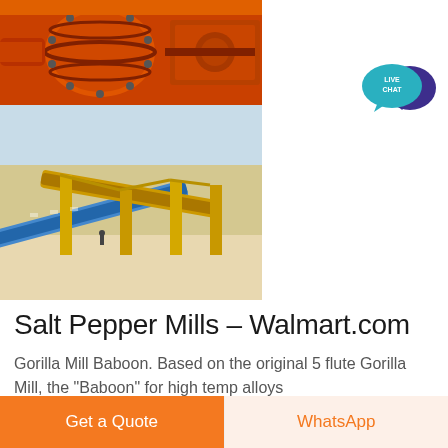[Figure (photo): Two industrial machinery photos stacked vertically: top photo shows orange industrial ball mill equipment, bottom photo shows yellow/blue conveyor belt system at a mining or industrial site.]
[Figure (infographic): Live chat bubble icon — teal speech bubble with 'LIVE CHAT' text and dark blue speech bubble overlapping, in the upper right area.]
Salt Pepper Mills – Walmart.com
Gorilla Mill Baboon. Based on the original 5 flute Gorilla Mill, the "Baboon" for high temp alloys
Get a Quote
WhatsApp